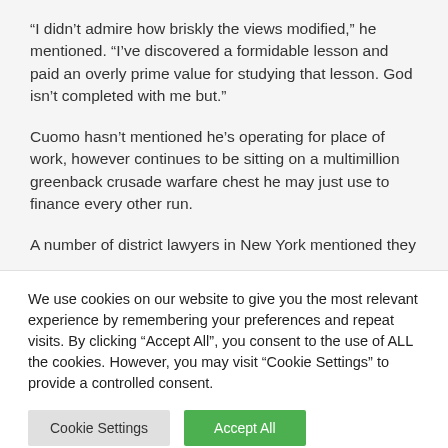“I didn’t admire how briskly the views modified,” he mentioned. “I’ve discovered a formidable lesson and paid an overly prime value for studying that lesson. God isn’t completed with me but.”
Cuomo hasn’t mentioned he’s operating for place of work, however continues to be sitting on a multimillion greenback crusade warfare chest he may just use to finance every other run.
A number of district lawyers in New York mentioned they
We use cookies on our website to give you the most relevant experience by remembering your preferences and repeat visits. By clicking “Accept All”, you consent to the use of ALL the cookies. However, you may visit “Cookie Settings” to provide a controlled consent.